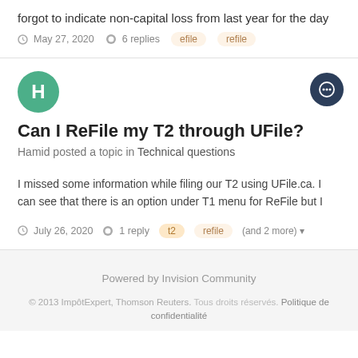forgot to indicate non-capital loss from last year for the day
May 27, 2020  6 replies  efile  refile
[Figure (illustration): Green circle avatar with letter H]
Can I ReFile my T2 through UFile?
Hamid posted a topic in Technical questions
I missed some information while filing our T2 using UFile.ca. I can see that there is an option under T1 menu for ReFile but I
July 26, 2020  1 reply  t2  refile  (and 2 more)
Powered by Invision Community
© 2013 ImpôtExpert, Thomson Reuters. Tous droits réservés. Politique de confidentialité